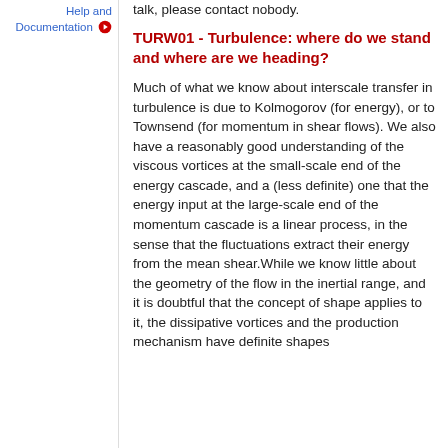talk, please contact nobody.
Help and Documentation
TURW01 - Turbulence: where do we stand and where are we heading?
Much of what we know about interscale transfer in turbulence is due to Kolmogorov (for energy), or to Townsend (for momentum in shear flows). We also have a reasonably good understanding of the viscous vortices at the small-scale end of the energy cascade, and a (less definite) one that the energy input at the large-scale end of the momentum cascade is a linear process, in the sense that the fluctuations extract their energy from the mean shear.While we know little about the geometry of the flow in the inertial range, and it is doubtful that the concept of shape applies to it, the dissipative vortices and the production mechanism have definite shapes